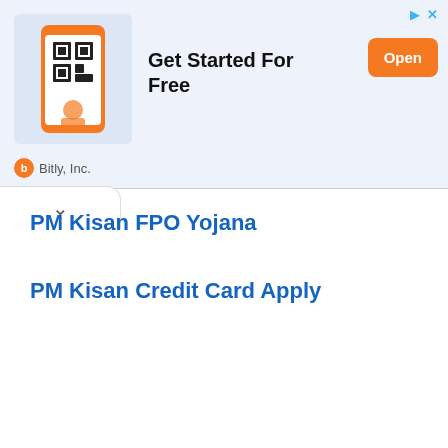[Figure (screenshot): Advertisement banner for Bitly Inc. showing a QR code phone illustration, text 'Get Started For Free', and an orange 'Open' button]
Bitly, Inc.
PM Kisan FPO Yojana
PM Kisan Credit Card Apply